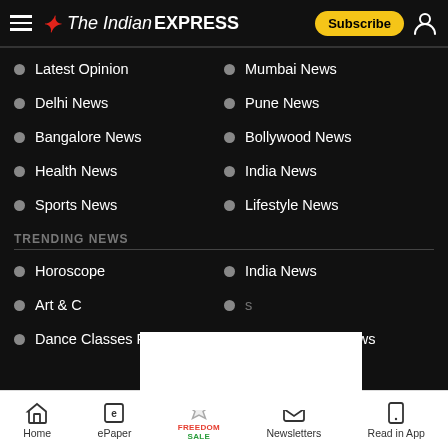The Indian Express - Subscribe
Latest Opinion
Mumbai News
Delhi News
Pune News
Bangalore News
Bollywood News
Health News
India News
Sports News
Lifestyle News
TRENDING NEWS
Horoscope
India News
Art & C[raft Classes For Kids]
[partially obscured]
Dance Classes For Kids
Entertainment News
Home  ePaper  Premium  Newsletters  Read in App